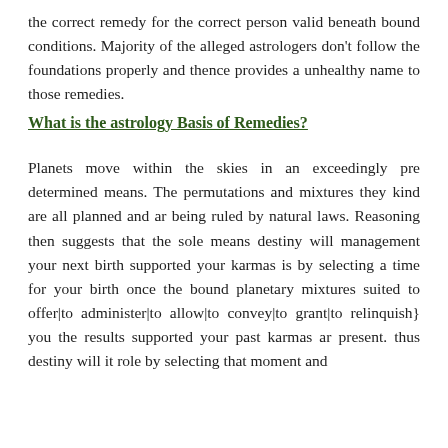the correct remedy for the correct person valid beneath bound conditions. Majority of the alleged astrologers don't follow the foundations properly and thence provides a unhealthy name to those remedies.
What is the astrology Basis of Remedies?
Planets move within the skies in an exceedingly pre determined means. The permutations and mixtures they kind are all planned and ar being ruled by natural laws. Reasoning then suggests that the sole means destiny will management your next birth supported your karmas is by selecting a time for your birth once the bound planetary mixtures suited to offer|to administer|to allow|to convey|to grant|to relinquish} you the results supported your past karmas ar present. thus destiny will it role by selecting that moment and